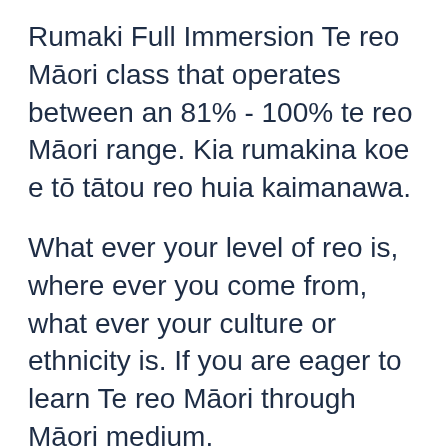Rumaki Full Immersion Te reo Māori class that operates between an 81% - 100% te reo Māori range. Kia rumakina koe e tō tātou reo huia kaimanawa.
What ever your level of reo is, where ever you come from, what ever your culture or ethnicity is. If you are eager to learn Te reo Māori through Māori medium.
To be time since Māori ever since I